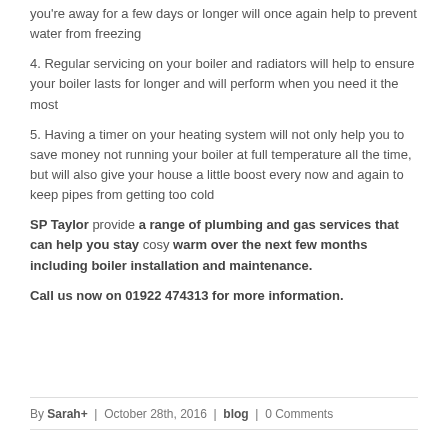you're away for a few days or longer will once again help to prevent water from freezing
4. Regular servicing on your boiler and radiators will help to ensure your boiler lasts for longer and will perform when you need it the most
5. Having a timer on your heating system will not only help you to save money not running your boiler at full temperature all the time, but will also give your house a little boost every now and again to keep pipes from getting too cold
SP Taylor provide a range of plumbing and gas services that can help you stay cosy warm over the next few months including boiler installation and maintenance.
Call us now on 01922 474313 for more information.
By Sarah+ | October 28th, 2016 | blog | 0 Comments